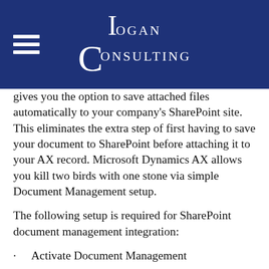Logan Consulting
gives you the option to save attached files automatically to your company's SharePoint site.  This eliminates the extra step of first having to save your document to SharePoint before attaching it to your AX record.  Microsoft Dynamics AX allows you kill two birds with one stone via simple Document Management setup.
The following setup is required for SharePoint document management integration:
Activate Document Management
File>Tools>Options>Miscellaneous>General>D... Handling Checkbox
Create or have access to one or more